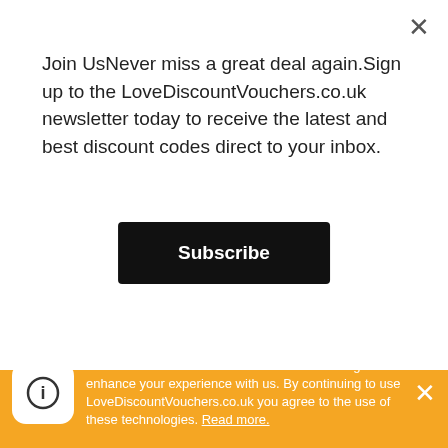Join UsNever miss a great deal again.Sign up to the LoveDiscountVouchers.co.uk newsletter today to receive the latest and best discount codes direct to your inbox.
Subscribe
LivingTrustify accepts Visa, Mastercard, American Express, Discover Card and PayPal.
What is an estate plan?
It’s planning ahead for:
* Who should make decisions for your finances and health care if you can’t make those decisions yourself.
Our website uses cookies and similar technologies to enhance your experience with us. By continuing to use LoveDiscountVouchers.co.uk you agree to the use of these technologies. Read more.